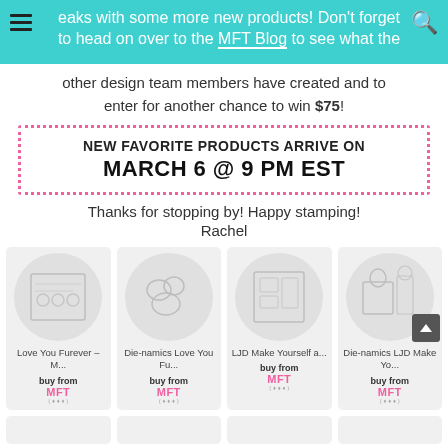eaks with some more new products! Don't forget to head on over to the MFT Blog to see what the other design team members have created and to enter for another chance to win $75!
[Figure (infographic): Pink dotted border box announcing: NEW FAVORITE PRODUCTS ARRIVE ON MARCH 6 @ 9 PM EST]
Thanks for stopping by! Happy stamping!
Rachel
[Figure (other): Love You Furever stamp set product thumbnail in circular grey background]
Love You Furever – M...
buy from
MFT
[Figure (other): Die-namics Love You Fu... product thumbnail in circular grey background]
Die-namics Love You Fu...
buy from
MFT
[Figure (other): LJD Make Yourself a... product thumbnail in circular grey background]
LJD Make Yourself a...
buy from
MFT
[Figure (other): Die-namics LJD Make Yo... product thumbnail in circular grey background]
Die-namics LJD Make Yo...
buy from
MFT